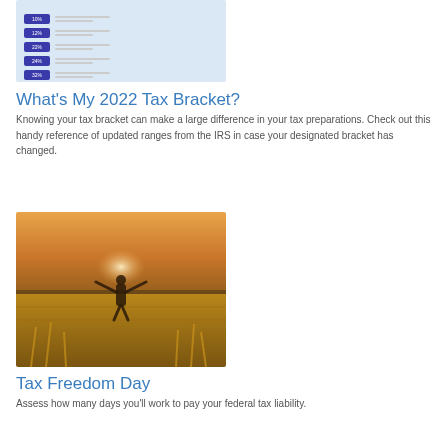[Figure (screenshot): Screenshot of a tax bracket reference table UI with blue badges and gray lines on a light blue background]
What's My 2022 Tax Bracket?
Knowing your tax bracket can make a large difference in your tax preparations. Check out this handy reference of updated ranges from the IRS in case your designated bracket has changed.
[Figure (photo): Photo of a person standing in an open golden wheat field with arms outstretched, backlit by a warm sunset sky]
Tax Freedom Day
Assess how many days you'll work to pay your federal tax liability.